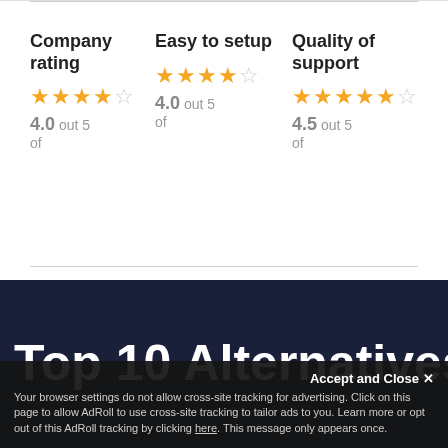| Company rating | Easy to setup | Quality of support |
| --- | --- | --- |
| ★★★★½ 4.0 out 5 of | ★★★★½ 4.0 out 5 of | ★★★★★½ 4.5 out 5 of |
Top 10 Alternatives to
Accept and Close ✕
Your browser settings do not allow cross-site tracking for advertising. Click on this page to allow AdRoll to use cross-site tracking to tailor ads to you. Learn more or opt out of this AdRoll tracking by clicking here. This message only appears once.